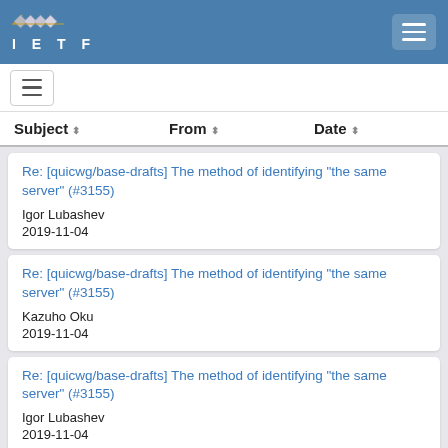IETF
Re: [quicwg/base-drafts] The method of identifying "the same server" (#3155)
Igor Lubashev
2019-11-04
Re: [quicwg/base-drafts] The method of identifying "the same server" (#3155)
Kazuho Oku
2019-11-04
Re: [quicwg/base-drafts] The method of identifying "the same server" (#3155)
Igor Lubashev
2019-11-04